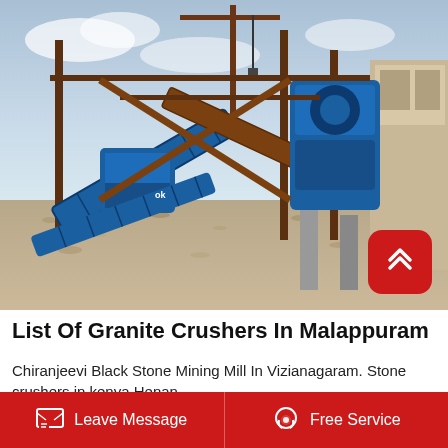[Figure (photo): Industrial stone crusher / granite crushing plant with blue machinery, conveyor belts, steel framework, and gravel ground. Heavy industrial equipment for mining operations.]
List Of Granite Crushers In Malappuram
Chiranjeevi Black Stone Mining Mill In Vizianagaram. Stone crushers in kenya Henan
Leave Message   Free Service